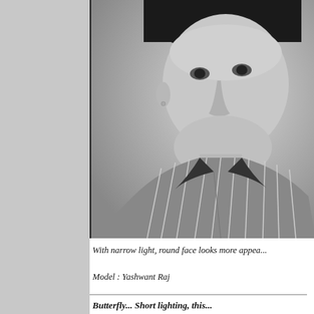[Figure (photo): Black and white portrait photograph of a young man wearing a striped collared shirt, looking slightly off-camera with a neutral expression. The photo is bordered on the left side with a thin black line.]
With narrow light, round face looks more appea...
Model : Yashwant Raj
Butterfly... Short lighting, this...